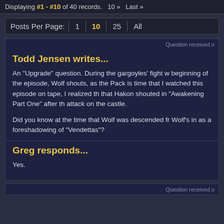Displaying #1 - #10 of 40 records.  10 »  Last »
Posts Per Page:  1  10  25  All
Question received o
Todd Jensen writes...
An "Upgrade" question. During the gargoyles' fight w beginning of the episode, Wolf shouts, as the Pack is time that I watched this episode on tape, I realized th that Hakon shouted in "Awakening Part One" after th attack on the castle.
Did you know at the time that Wolf was descended fr Wolf's in as a foreshadowing of "Vendettas"?
Greg responds...
Yes.
Question received o